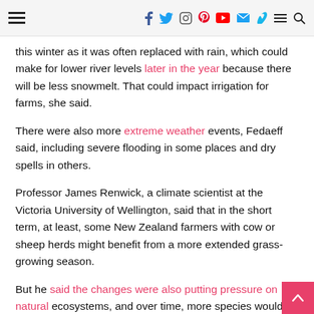[hamburger menu] [social icons: facebook, twitter, instagram, pinterest, youtube, mail, vimeo, menu, search]
this winter as it was often replaced with rain, which could make for lower river levels later in the year because there will be less snowmelt. That could impact irrigation for farms, she said.
There were also more extreme weather events, Fedaeff said, including severe flooding in some places and dry spells in others.
Professor James Renwick, a climate scientist at the Victoria University of Wellington, said that in the short term, at least, some New Zealand farmers with cow or sheep herds might benefit from a more extended grass-growing season.
But he said the changes were also putting pressure on natural ecosystems, and over time, more species would face extinction. He said humans needed to slow the rate of greenhouse gas emissions.